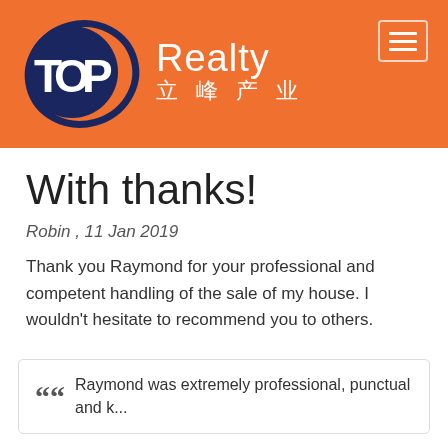[Figure (logo): TOP Realty logo with dark blue circular swoosh, white TOP text bold, white Realty text light weight, Chinese characters 立峰产业 below, on orange background. Hamburger menu icon top right.]
With thanks!
Robin , 11 Jan 2019
Thank you Raymond for your professional and competent handling of the sale of my house. I wouldn't hesitate to recommend you to others.
Raymond was extremely professional, punctual and k...